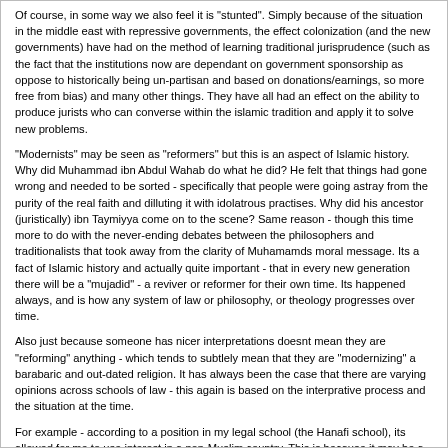Of course, in some way we also feel it is "stunted". Simply because of the situation in the middle east with repressive governments, the effect colonization (and the new governments) have had on the method of learning traditional jurisprudence (such as the fact that the institutions now are dependant on government sponsorship as oppose to historically being un-partisan and based on donations/earnings, so more free from bias) and many other things. They have all had an effect on the ability to produce jurists who can converse within the islamic tradition and apply it to solve new problems.
"Modernists" may be seen as "reformers" but this is an aspect of Islamic history. Why did Muhammad ibn Abdul Wahab do what he did? He felt that things had gone wrong and needed to be sorted - specifically that people were going astray from the purity of the real faith and dilluting it with idolatrous practises. Why did his ancestor (juristically) ibn Taymiyya come on to the scene? Same reason - though this time more to do with the never-ending debates between the philosophers and traditionalists that took away from the clarity of Muhamamds moral message. Its a fact of Islamic history and actually quite important - that in every new generation there will be a "mujadid" - a reviver or reformer for their own time. Its happened always, and is how any system of law or philosophy, or theology progresses over time.
Also just because someone has nicer interpretations doesnt mean they are "reforming" anything - which tends to subtlely mean that they are "modernizing" a barabaric and out-dated religion. It has always been the case that there are varying opinions across schools of law - this again is based on the interprative process and the situation at the time.
For example - according to a position in my legal school (the Hanafi school), its allowed for me to use interest in a non-Muslim country. This is because it may be a fact of life for the economy or even a neccessity to survive, but i am only allowed to use it in a good way, and not do anything underhand or illicit with it. This is based on the priciple of "public interest" (maslaha), "neccessity" (darura), "custom" ('urf) and many other things.(sorry for including the arabic terms - i am doing so incase you have interest in understanding them further :)) Other legal schools, and some other opinions within my own school hold the exact opposite. So it is clear that depending on the situation, there are many different possible solutions - the skill is to find out and know what we can do. By the way, that opinion is attributed to Abu Hanifa himself, some time in the